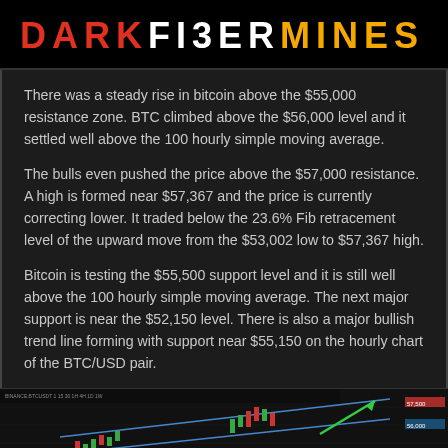DARKFIBERMINES
There was a steady rise in bitcoin above the $55,000 resistance zone. BTC climbed above the $56,000 level and it settled well above the 100 hourly simple moving average.
The bulls even pushed the price above the $57,000 resistance. A high is formed near $57,367 and the price is currently correcting lower. It traded below the 23.6% Fib retracement level of the upward move from the $53,002 low to $57,367 high.
Bitcoin is testing the $55,500 support level and it is still well above the 100 hourly simple moving average. The next major support is near the $52,150 level. There is also a major bullish trend line forming with support near $55,150 on the hourly chart of the BTC/USD pair.
[Figure (screenshot): BTC/USD hourly candlestick chart showing upward trend with blue channel lines and a green arrow indicating bullish direction, with price annotations on right side.]